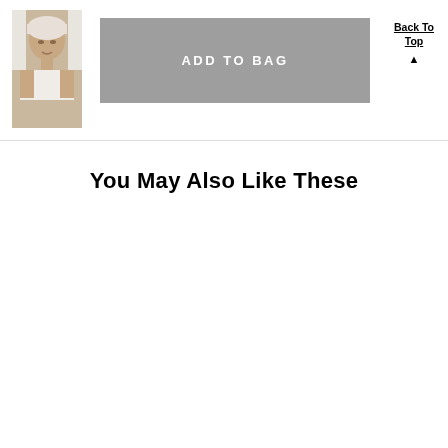[Figure (photo): Small thumbnail image of a woman with hair wrapped in a towel, light background]
ADD TO BAG
Back To Top
You May Also Like These